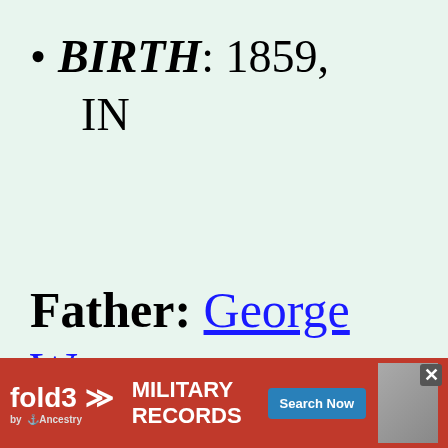BIRTH: 1859, IN
Father: George W. HOLSAPPLE (b. 9 AUG
[Figure (screenshot): Advertisement banner for fold3 Military Records by Ancestry with red background, Search Now button, and soldier photo]